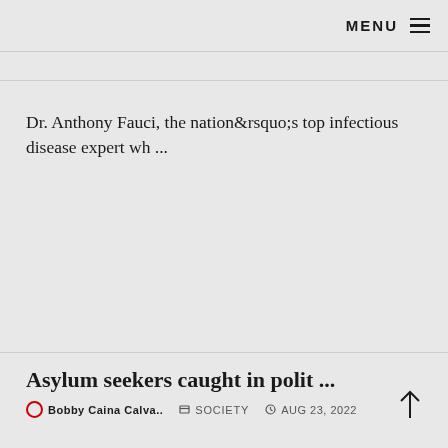MENU ≡
Dr. Anthony Fauci, the nation&rsquo;s top infectious disease expert wh ...
Asylum seekers caught in polit ...
Bobby Caina Calva..   SOCIETY   AUG 23, 2022